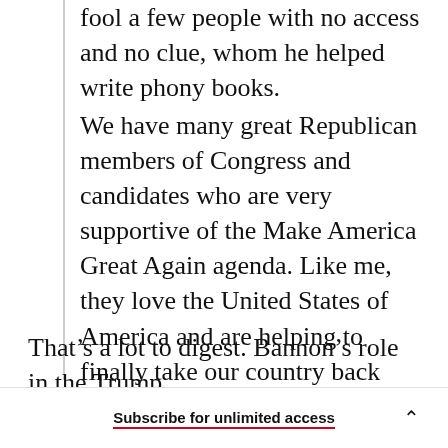fool a few people with no access and no clue, whom he helped write phony books.
We have many great Republican members of Congress and candidates who are very supportive of the Make America Great Again agenda. Like me, they love the United States of America and are helping to finally take our country back and build it up, rather than simply seeking to burn it all down.
That’s a lot to digest. Bannon’s role in the Trump
Subscribe for unlimited access